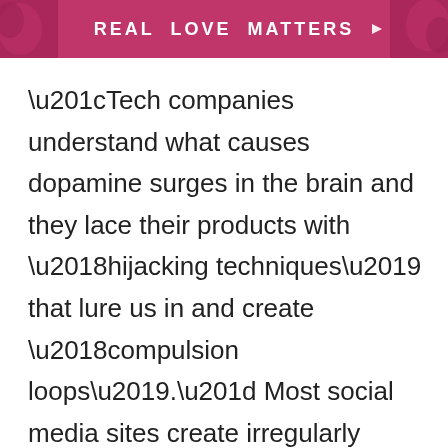[Figure (other): Pink/magenta banner header with text 'REAL LOVE MATTERS' in white uppercase letters, with decorative photographic imagery on left and right sides]
“Tech companies understand what causes dopamine surges in the brain and they lace their products with ‘hijacking techniques’ that lure us in and create ‘compulsion loops’.” Most social media sites create irregularly timed rewards, Brooks wrote, a technique long employed by the makers of slot machines, based on the work of the American psychologist BF Skinner, who found that the most...